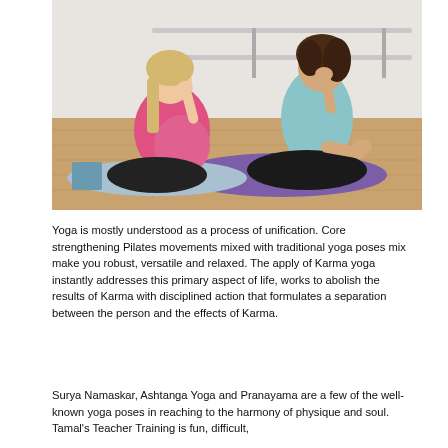[Figure (photo): Two women sitting cross-legged on yoga mats in a studio, doing breathing exercises (pranayama). One woman on the left is visibly pregnant and wearing a pink top; the other on the right is wearing a light blue top. Both have their hand near their nose. The floor is wooden and there are ballet barres in the background.]
Yoga is mostly understood as a process of unification. Core strengthening Pilates movements mixed with traditional yoga poses mix make you robust, versatile and relaxed. The apply of Karma yoga instantly addresses this primary aspect of life, works to abolish the results of Karma with disciplined action that formulates a separation between the person and the effects of Karma.
Surya Namaskar, Ashtanga Yoga and Pranayama are a few of the well-known yoga poses in reaching to the harmony of physique and soul. Tamal's Teacher Training is fun, difficult,